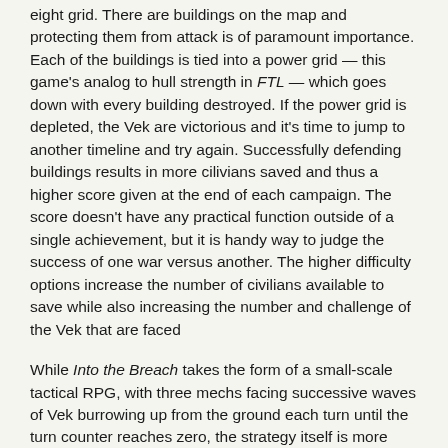eight grid. There are buildings on the map and protecting them from attack is of paramount importance. Each of the buildings is tied into a power grid — this game's analog to hull strength in FTL — which goes down with every building destroyed. If the power grid is depleted, the Vek are victorious and it's time to jump to another timeline and try again. Successfully defending buildings results in more cilivians saved and thus a higher score given at the end of each campaign. The score doesn't have any practical function outside of a single achievement, but it is handy way to judge the success of one war versus another. The higher difficulty options increase the number of civilians available to save while also increasing the number and challenge of the Vek that are faced
While Into the Breach takes the form of a small-scale tactical RPG, with three mechs facing successive waves of Vek burrowing up from the ground each turn until the turn counter reaches zero, the strategy itself is more akin to a multi-layered puzzle than Final Fantasy Tactics. All enemy attacks are telegraphed, with the enemy moving at the beginning of the turn and their targeting being clearly shown on the map. Almost all mech weapons cause friendly fire to other mechs and buildings